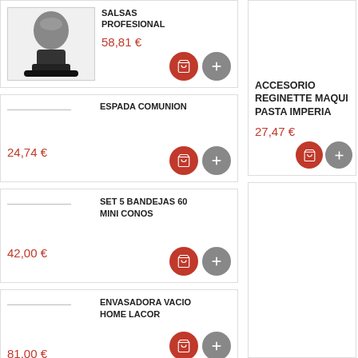[Figure (photo): Product image of a blender/kitchen appliance in black]
SALSAS PROFESIONAL
58,81 €
ESPADA COMUNION
24,74 €
SET 5 BANDEJAS 60 MINI CONOS
42,00 €
ENVASADORA VACIO HOME LACOR
81,00 €
ACCESORIO REGINETTE MAQUINA PASTA IMPERIA
27,47 €